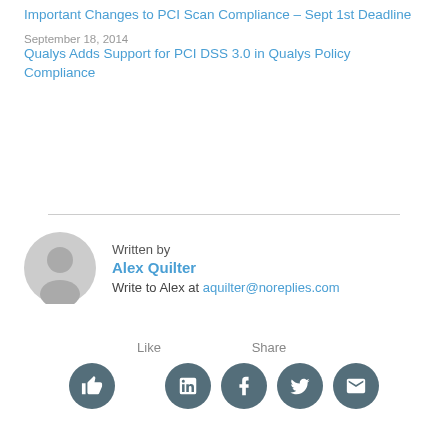Important Changes to PCI Scan Compliance – Sept 1st Deadline
September 18, 2014
Qualys Adds Support for PCI DSS 3.0 in Qualys Policy Compliance
Written by
Alex Quilter
Write to Alex at aquilter@noreplies.com
Like   Share